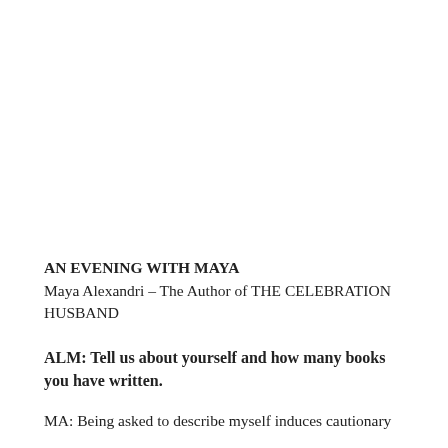AN EVENING WITH MAYA
Maya Alexandri – The Author of THE CELEBRATION HUSBAND
ALM: Tell us about yourself and how many books you have written.
MA: Being asked to describe myself induces cautionary